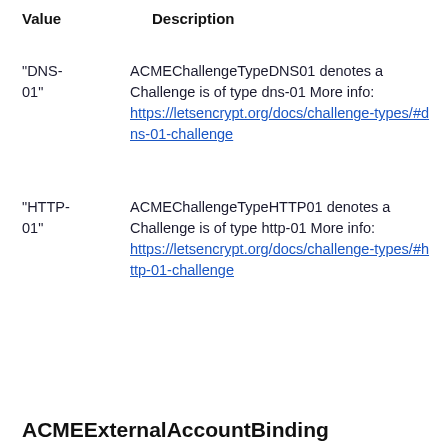| Value | Description |
| --- | --- |
| "DNS-01" | ACMEChallengeTypeDNS01 denotes a Challenge is of type dns-01 More info: https://letsencrypt.org/docs/challenge-types/#dns-01-challenge |
| "HTTP-01" | ACMEChallengeTypeHTTP01 denotes a Challenge is of type http-01 More info: https://letsencrypt.org/docs/challenge-types/#http-01-challenge |
ACMEExternalAccountBinding